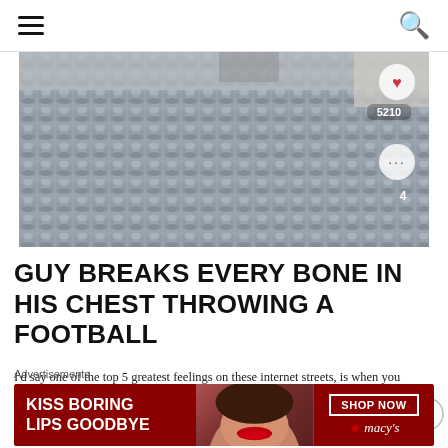Navigation bar with hamburger menu and search icon
[Figure (photo): Close-up photo of woven rattan/wicker furniture texture with a small heart icon showing 5210 likes, a more options button, and a comment count of 4]
GUY BREAKS EVERY BONE IN HIS CHEST THROWING A FOOTBALL
I'd say one of the top 5 greatest feelings on these internet streets, is when you find a video and know you're early to something that'll be viral soon. That is exactly what we have [...]
Advertisements
[Figure (screenshot): Advertisement banner for Macy's: red background with text KISS BORING LIPS GOODBYE, woman's face with red lipstick, SHOP NOW button and Macy's star logo]